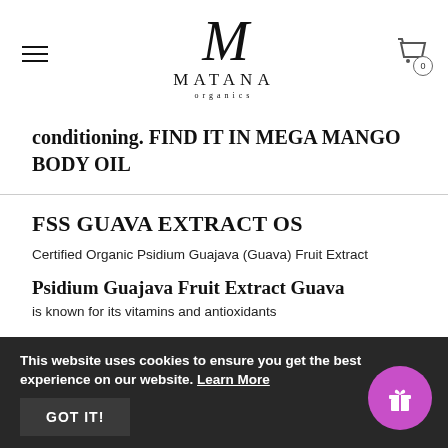[Figure (logo): Matana Organics logo with stylized M and text MATANA organics]
conditioning. FIND IT IN MEGA MANGO BODY OIL
FSS GUAVA EXTRACT OS
Certified Organic Psidium Guajava (Guava) Fruit Extract
Psidium Guajava Fruit Extract Guava
is known for its vitamins and antioxidants
This website uses cookies to ensure you get the best experience on our website. Learn More
GOT IT!